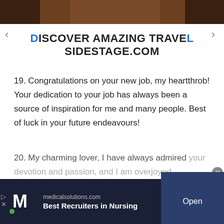[Figure (photo): Top cropped photo strip showing person's hair/head against dark background]
DISCOVER AMAZING TRAVEL SIDESTAGE.COM
19. Congratulations on your new job, my heartthrob! Your dedication to your job has always been a source of inspiration for me and many people. Best of luck in your future endeavours!
20. My charming lover, I have always admired your devotion and passion, and I am overjoyed
[Figure (screenshot): Medical Solutions advertisement banner at bottom: logo with M, text 'medicalsolutions.com Best Recruiters in Nursing', Open button]